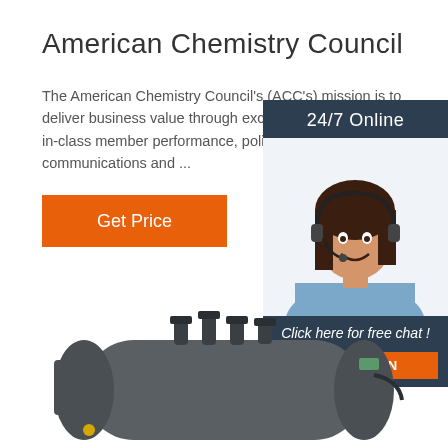American Chemistry Council
The American Chemistry Council's (ACC's) mission is to deliver business value through exceptional adv... using best-in-class member performance, poli... engagement, communications and ...
Get Price
24/7 Online
[Figure (photo): Customer service representative woman wearing headset, smiling]
Click here for free chat !
QUOTATION
[Figure (photo): Industrial cylindrical device/equipment, dark grey color with connectors on top]